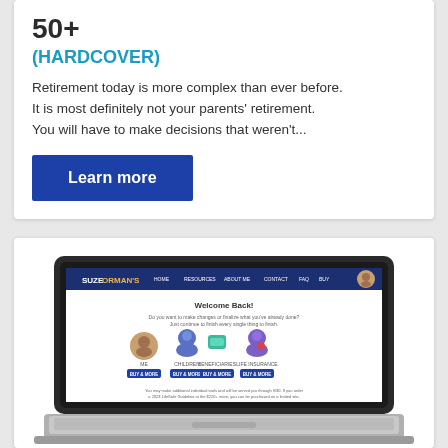50+
(HARDCOVER)
Retirement today is more complex than ever before. It is most definitely not your parents' retirement. You will have to make decisions that weren't...
Learn more
[Figure (screenshot): Screenshot of Suze Orman's website displayed on a laptop computer, showing a 'Welcome Back!' page with user profile icons and navigation options.]